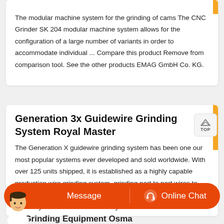The modular machine system for the grinding of cams The CNC Grinder SK 204 modular machine system allows for the configuration of a large number of variants in order to accommodate individual ... Compare this product Remove from comparison tool. See the other products EMAG GmbH Co. KG.
Generation 3x Guidewire Grinding System Royal Master
The Generation X guidewire grinding system has been one our most popular systems ever developed and sold worldwide. With over 125 units shipped, it is established as a highly capable production wire grinding system, grinding part to part wires to under 15 seconds. In this particular case study, the machine runs fully unattended 24 hours day.
Bit Grinding Equipment Osma